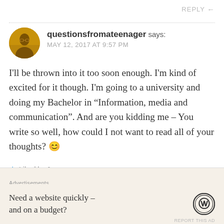REPLY
questionsfromateenager says:
MAY 12, 2017 AT 9:57 PM
I'll be thrown into it too soon enough. I'm kind of excited for it though. I'm going to a university and doing my Bachelor in “Information, media and communication”. And are you kidding me – You write so well, how could I not want to read all of your thoughts? 😊
Liked by 1 person
Advertisements
Need a website quickly – and on a budget?